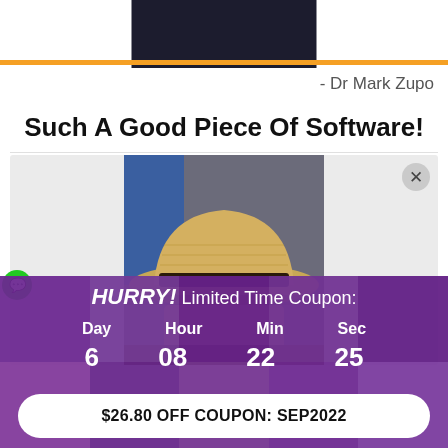[Figure (photo): Dark screenshot/image at the top of the page, partially visible]
- Dr Mark Zupo
Such A Good Piece Of Software!
[Figure (photo): Person wearing a straw hat, video call screenshot with a close (X) button]
HURRY! Limited Time Coupon:
Day 6 | Hour 08 | Min 22 | Sec 25
$26.80 OFF COUPON: SEP2022